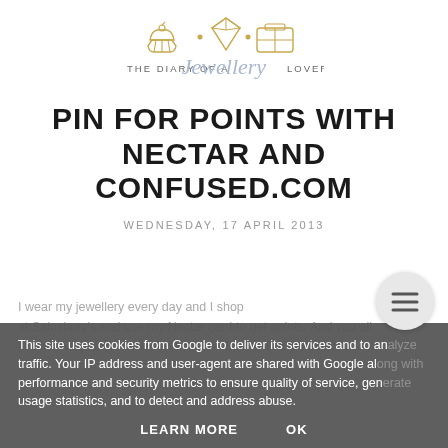[Figure (logo): Blog logo with illustrated icons (cupcake, diamond, suitcase) in gold/tan outlines and the text 'The Diary of a Jewellery Lover' with 'Jewellery' in a light blue cursive script]
PIN FOR POINTS WITH NECTAR AND CONFUSED.COM
WEDNESDAY, 17 APRIL 2013
This site uses cookies from Google to deliver its services and to analyze traffic. Your IP address and user-agent are shared with Google along with performance and security metrics to ensure quality of service, generate usage statistics, and to detect and address abuse.
I wear my jewellery every day and I shop at Sainsbury's and use my Nectar card to get points. And you all know what points make don't you! =YES! You've guessed it...